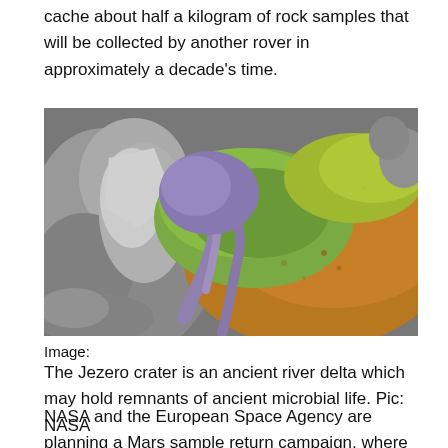cache about half a kilogram of rock samples that will be collected by another rover in approximately a decade's time.
[Figure (photo): False-color aerial/orbital image of Jezero crater on Mars showing an ancient river delta formation with green, purple, orange, and yellow mineral color variations against a grey rocky terrain.]
Image:
The Jezero crater is an ancient river delta which may hold remnants of ancient microbial life. Pic: NASA
NASA and the European Space Agency are planning a Mars sample return campaign, where these samples can be